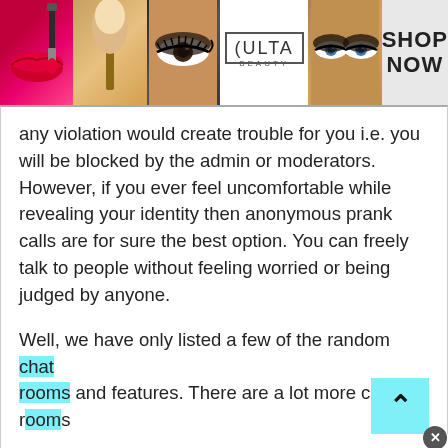[Figure (photo): Banner advertisement for Ulta Beauty showing makeup photos (lips with lipstick brush, makeup brush, eye with dramatic makeup, Ulta Beauty logo, eyes with smoky eyeshadow) and 'SHOP NOW' text on right]
any violation would create trouble for you i.e. you will be blocked by the admin or moderators. However, if you ever feel uncomfortable while revealing your identity then anonymous prank calls are for sure the best option. You can freely talk to people without feeling worried or being judged by anyone.
Well, we have only listed a few of the random chat rooms and features. There are a lot more chat rooms